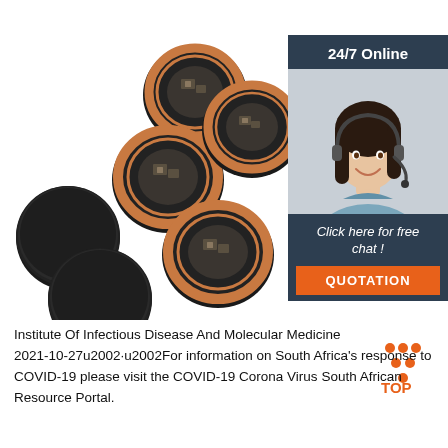[Figure (photo): Product photo showing RFID coin tags — several round black NFC/RFID coin tokens, some showing the copper coil antenna side and some showing the plain black side, arranged on a white background]
[Figure (infographic): 24/7 Online customer service chat widget showing a woman wearing a headset smiling, with text 'Click here for free chat!' and an orange QUOTATION button]
Institute Of Infectious Disease And Molecular Medicine 2021-10-27u2002·u2002For information on South Africa's response to COVID-19 please visit the COVID-19 Corona Virus South African Resource Portal.